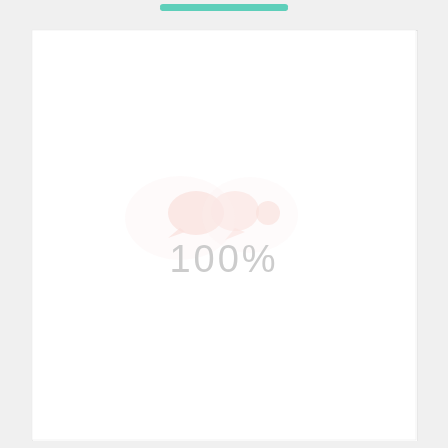[Figure (infographic): Loading screen with a teal progress bar at the top, faint pinkish circular loading indicator icons in the center, and '100%' text in light gray below the icons]
100%